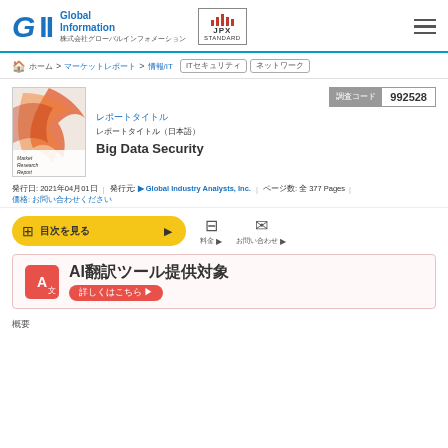GII Global Information 株式会社グローバルインフォメーション | JPX STANDARD
ホーム > マーケットレポート > 情報/IT  ITセキュリティ  ネットワーク
[Figure (photo): Market Research Report book cover with swirl design]
レポートタイトル
レポートタイトル（日本語）
Big Data Security
| 調査コード | 992528 |
| --- | --- |
発行日: 2021年04月01日  |  発行元: ▶ Global Industry Analysts, Inc.  |  ページ数: 全 377 Pages  |  価格: お問い合わせください
目次を見る ▶  料金計算  お問い合わせ
[Figure (infographic): AI翻訳ツール提供対象 banner with 詳しくはこちら button]
概要